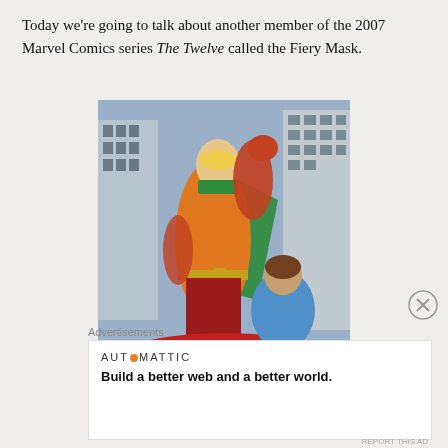Today we're going to talk about another member of the 2007 Marvel Comics series The Twelve called the Fiery Mask.
[Figure (illustration): Comic book illustration of the Fiery Mask superhero — a man in orange costume with green cape and yellow mask, in fighting stance over a person in blue, with city buildings in background.]
Advertisements
AUTOMATTIC
Build a better web and a better world.